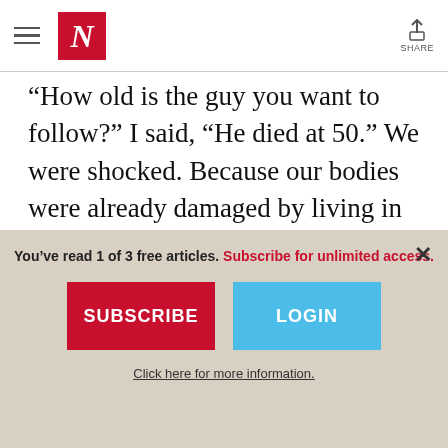The Nation — navigation header with hamburger menu, N logo, and share button
“How old is the guy you want to follow?” I said, “He died at 50.” We were shocked. Because our bodies were already damaged by living in America, then it struck us worse younger.

When that happened, I just took a breath.
You’ve read 1 of 3 free articles. Subscribe for unlimited access.
SUBSCRIBE
LOGIN
Click here for more information.